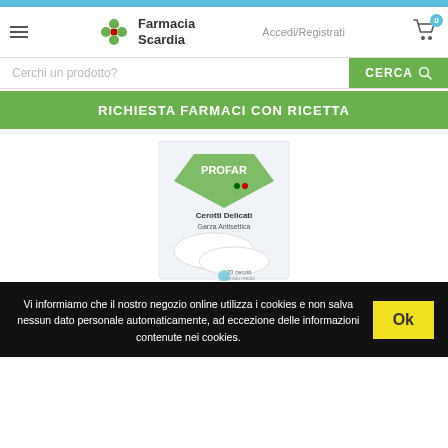[Figure (screenshot): Farmacia Scardia website screenshot showing header, search bar, product banner, product image of PROFAR Cerotti Delicati Garza Antisettica, and cookie consent bar]
Farmacia Scardia
Accedi/Registrati
Cerchi un prodotto?
CERCA
RICHIESTA FARMACI CON RICETTA
Vi informiamo che il nostro negozio online utilizza i cookies e non salva nessun dato personale automaticamente, ad eccezione delle informazioni contenute nei cookies.
Ok